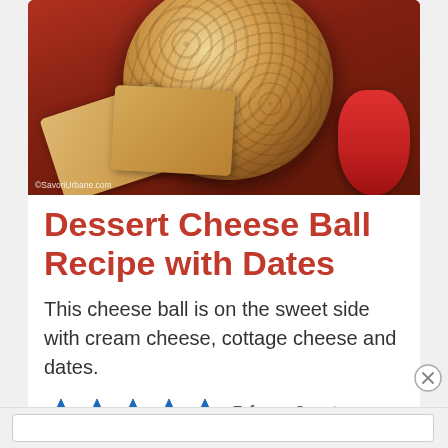[Figure (photo): A cheese ball coated with chopped nuts, surrounded by graham crackers and strawberries on a plate. Watermark reads © SavoriUrbane.com]
Dessert Cheese Ball Recipe with Dates
This cheese ball is on the sweet side with cream cheese, cottage cheese and dates.
5 from 3 votes